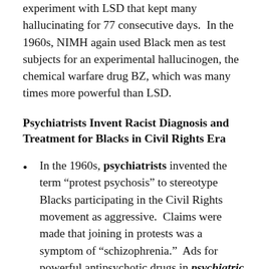experiment with LSD that kept many hallucinating for 77 consecutive days.  In the 1960s, NIMH again used Black men as test subjects for an experimental hallucinogen, the chemical warfare drug BZ, which was many times more powerful than LSD.
Psychiatrists Invent Racist Diagnosis and Treatment for Blacks in Civil Rights Era
In the 1960s, psychiatrists invented the term “protest psychosis” to stereotype Blacks participating in the Civil Rights movement as aggressive.  Claims were made that joining in protests was a symptom of “schizophrenia.”  Ads for powerful antipsychotic drugs in psychiatric journals